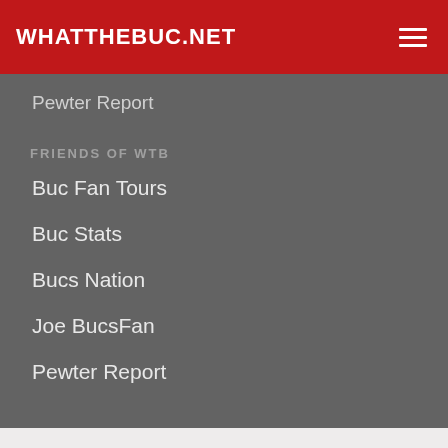WHATTHEBUC.NET
Pewter Report
FRIENDS OF WTB
Buc Fan Tours
Buc Stats
Bucs Nation
Joe BucsFan
Pewter Report
WE ARE NOT A QUESTION,